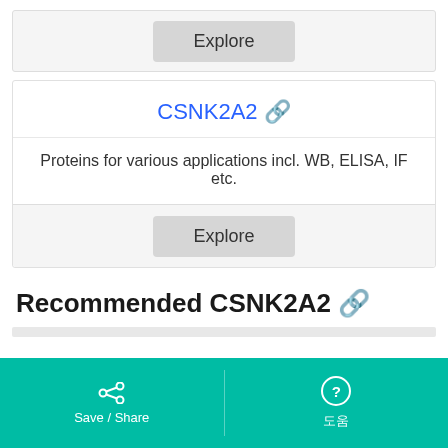[Figure (screenshot): Explore button in a grey card area at the top]
CSNK2A2 🔗
Proteins for various applications incl. WB, ELISA, IF etc.
[Figure (screenshot): Explore button in a grey card footer area]
Recommended CSNK2A2 🔗
Save / Share   도움